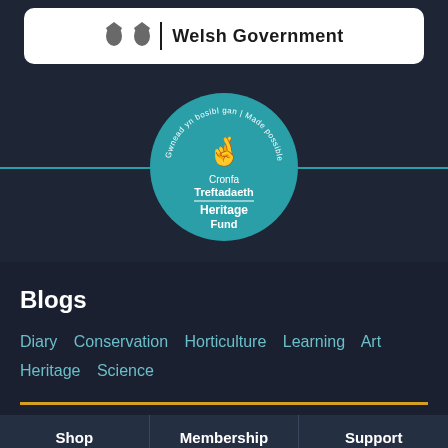[Figure (logo): Welsh Government logo with dragon icons and text 'Welsh Government' on white banner]
[Figure (logo): Cronfa Treftadaeth / Heritage Fund circular teal badge with crossed fingers icon and circular text 'Gwnead yn bosibl gan | Made possible with']
Blogs
Diary
Conservation
Horticulture
Learning
Art
Heritage
Science
Shop   Membership   Support